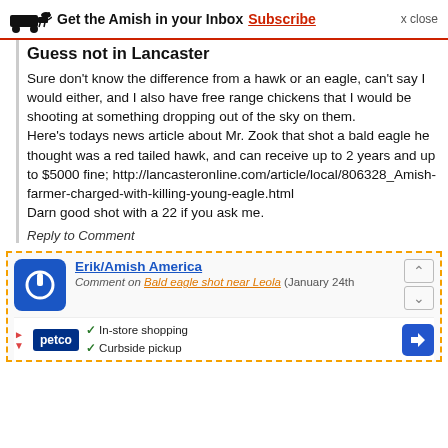Get the Amish in your Inbox Subscribe x close
Guess not in Lancaster
Sure don't know the difference from a hawk or an eagle, can't say I would either, and I also have free range chickens that I would be shooting at something dropping out of the sky on them.
Here's todays news article about Mr. Zook that shot a bald eagle he thought was a red tailed hawk, and can receive up to 2 years and up to $5000 fine; http://lancasteronline.com/article/local/806328_Amish-farmer-charged-with-killing-young-eagle.html
Darn good shot with a 22 if you ask me.
Reply to Comment
[Figure (screenshot): Ad box with dashed orange border showing Erik/Amish America commenter avatar (blue circle with power icon), name link, and comment on Bald eagle shot near Leola (January 24th), with up/down arrow navigation. Below is a Petco advertisement showing in-store shopping and curbside pickup options.]